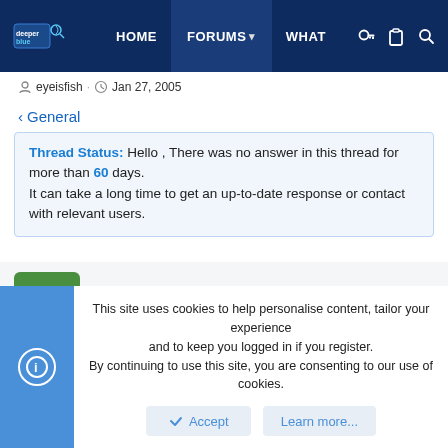deeper blue | HOME | FORUMS | WHAT | [icons]
eyeisfish · Jan 27, 2005
< General
Thread Status: Hello , There was no answer in this thread for more than 60 days. It can take a long time to get an up-to-date response or contact with relevant users.
eyeisfish
New Member
This site uses cookies to help personalise content, tailor your experience and to keep you logged in if you register. By continuing to use this site, you are consenting to our use of cookies.
Accept | Learn more...